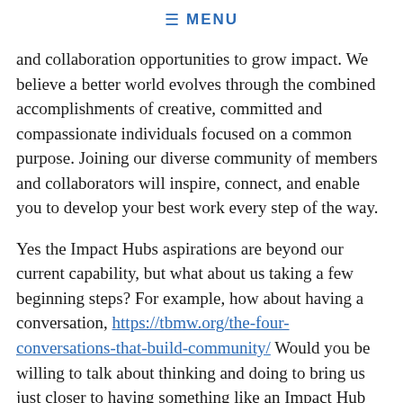≡ MENU
and collaboration opportunities to grow impact. We believe a better world evolves through the combined accomplishments of creative, committed and compassionate individuals focused on a common purpose. Joining our diverse community of members and collaborators will inspire, connect, and enable you to develop your best work every step of the way.
Yes the Impact Hubs aspirations are beyond our current capability, but what about us taking a few beginning steps? For example, how about having a conversation, https://tbmw.org/the-four-conversations-that-build-community/ Would you be willing to talk about thinking and doing to bring us just closer to having something like an Impact Hub here in the Mahoning Valley? What intermediate goal could we together achieve.